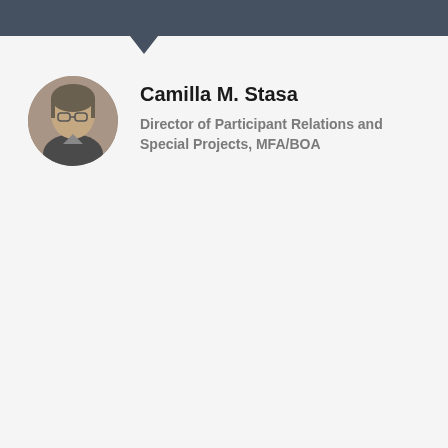[Figure (photo): Circular profile photo of Camilla M. Stasa, a person wearing glasses]
Camilla M. Stasa
Director of Participant Relations and Special Projects, MFA/BOA